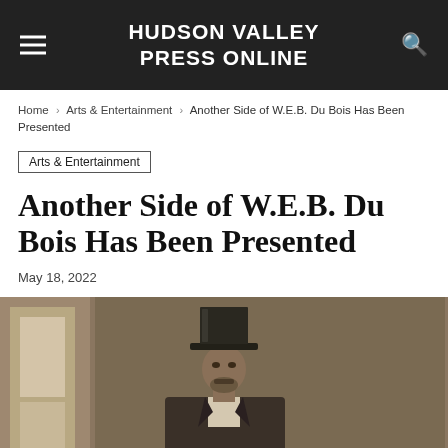HUDSON VALLEY PRESS ONLINE
Home › Arts & Entertainment › Another Side of W.E.B. Du Bois Has Been Presented
Arts & Entertainment
Another Side of W.E.B. Du Bois Has Been Presented
May 18, 2022
[Figure (photo): Sepia-toned historical photograph of a man wearing a top hat and suit, standing in a doorway]